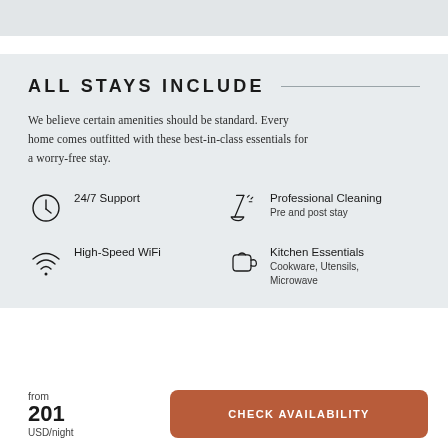ALL STAYS INCLUDE
We believe certain amenities should be standard. Every home comes outfitted with these best-in-class essentials for a worry-free stay.
24/7 Support
Professional Cleaning
Pre and post stay
High-Speed WiFi
Kitchen Essentials
Cookware, Utensils, Microwave
from
201
USD/night
CHECK AVAILABILITY